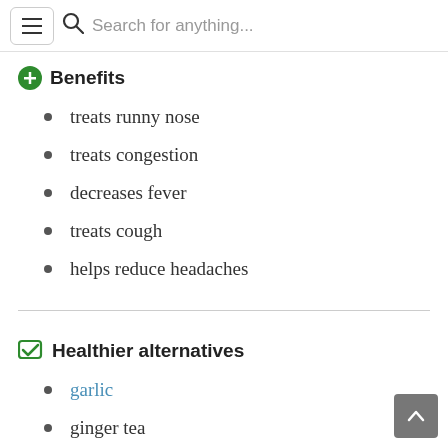Search for anything...
Benefits
treats runny nose
treats congestion
decreases fever
treats cough
helps reduce headaches
Healthier alternatives
garlic
ginger tea